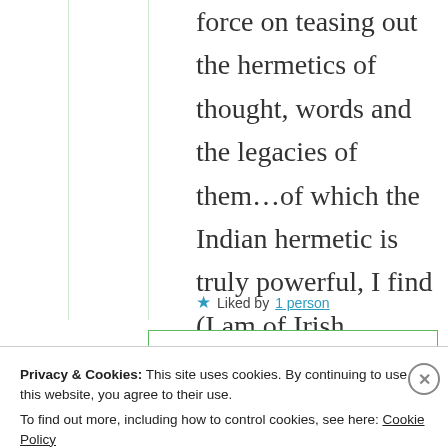force on teasing out the hermetics of thought, words and the legacies of them…of which the Indian hermetic is truly powerful, I find (I am of Irish traveller origin)
★ Liked by 1 person
Privacy & Cookies: This site uses cookies. By continuing to use this website, you agree to their use. To find out more, including how to control cookies, see here: Cookie Policy
Close and accept